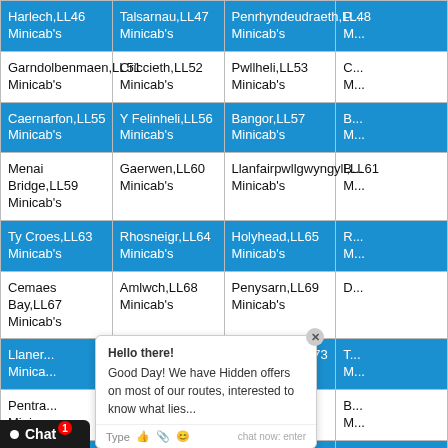| Col1 | Col2 | Col3 | Col4(partial) |
| --- | --- | --- | --- |
| Harlech,LL46 Minicab's | Talsarnau,LL47 Minicab's | Penrhyndeudraeth,LL48 Minicab's | P... M... |
| Garndolbenmaen,LL51 Minicab's | Criccieth,LL52 Minicab's | Pwllheli,LL53 Minicab's | C... M... |
| Caernarfon,LL55 Minicab's | Y Felinheli,LL56 Minicab's | Bangor,LL57 Minicab's | B... M... |
| Menai Bridge,LL59 Minicab's | Gaerwen,LL60 Minicab's | Llanfairpwllgwyngyll,LL61 Minicab's | B... M... |
| Ty Croes,LL63 Minicab's | Rhosneigr,LL64 Minicab's | Holyhead,LL65 Minicab's | R... M... |
| Cemaes Bay,LL67 Minicab's | Amlwch,LL68 Minicab's | Penysarn,LL69 Minicab's | D... |
| Llaner... Minicab's | Moelfre,LL72 Minicab's | Marianglas,LL73 Minicab's | T... M... |
| Pentra... Minicab's | Llanbedrgoch,LL76 Minicab's | Llangefni,LL77 Minicab's | B... M... |
| Lincol... | Woodhall Spa,LN10 Minicab's | Louth,LN11 Minicab's | M... M... |
| ... Minicab's | Lincoln,LN2 Minicab's | Lincoln,LN3 Minicab's | L... |
Hello there!
Good Day! We have Hidden offers on most of our routes, interested to know what lies...
Chat